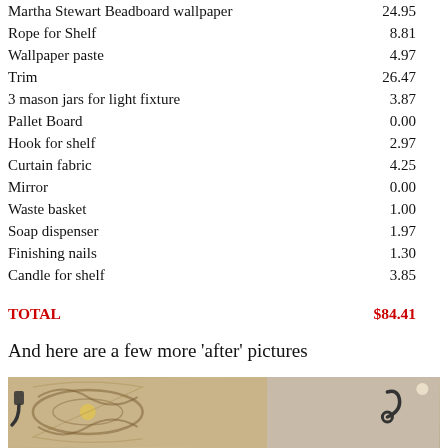| Item | Amount |
| --- | --- |
| Martha Stewart Beadboard wallpaper | 24.95 |
| Rope for Shelf | 8.81 |
| Wallpaper paste | 4.97 |
| Trim | 26.47 |
| 3 mason jars for light fixture | 3.87 |
| Pallet Board | 0.00 |
| Hook for shelf | 2.97 |
| Curtain fabric | 4.25 |
| Mirror | 0.00 |
| Waste basket | 1.00 |
| Soap dispenser | 1.97 |
| Finishing nails | 1.30 |
| Candle for shelf | 3.85 |
TOTAL   $84.41
And here are a few more 'after' pictures
[Figure (photo): Photo of bathroom shelf/decor area showing wallpaper with floral pattern and hooks on right side wall]